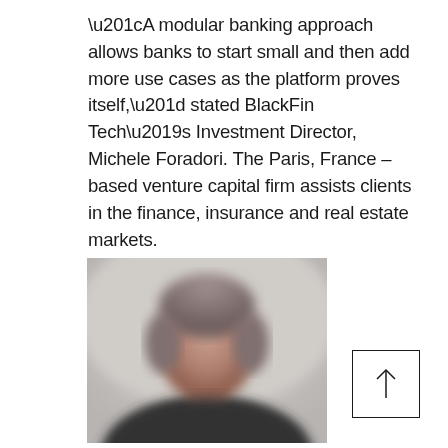“A modular banking approach allows banks to start small and then add more use cases as the platform proves itself,” stated BlackFin Tech’s Investment Director, Michele Foradori. The Paris, France –based venture capital firm assists clients in the finance, insurance and real estate markets.
[Figure (photo): Blurred/pixelated portrait photo of a person (Michele Foradori), showing head and shoulders against a light background]